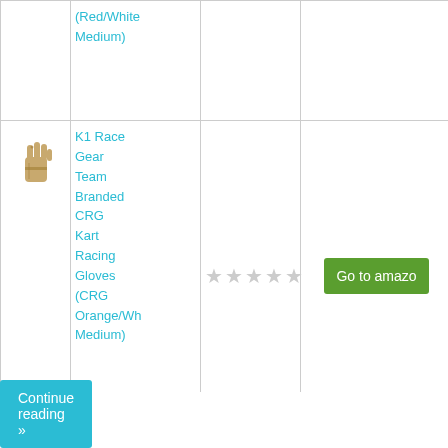| Image | Product Name | Rating | Link |
| --- | --- | --- | --- |
| [image] | (Red/White Medium) |  |  |
| [glove image] | K1 Race Gear Team Branded CRG Kart Racing Gloves (CRG Orange/White Medium) | ★★★★★ (empty) | Go to amazon |
Continue reading »